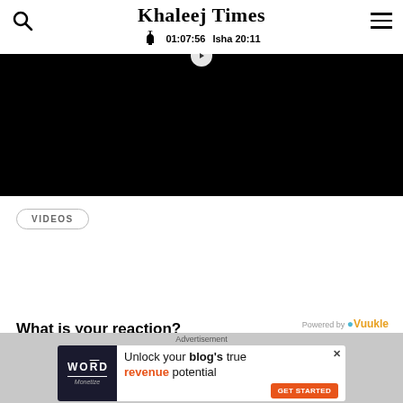Khaleej Times — 01:07:56  Isha 20:11
[Figure (screenshot): Black video player box with partial play button visible at top center]
VIDEOS
What is your reaction?
Powered by Vuukle
Advertisement
[Figure (infographic): Advertisement banner: Word Monetize logo on dark background. Text: Unlock your blog's true revenue potential. GET STARTED button in orange.]